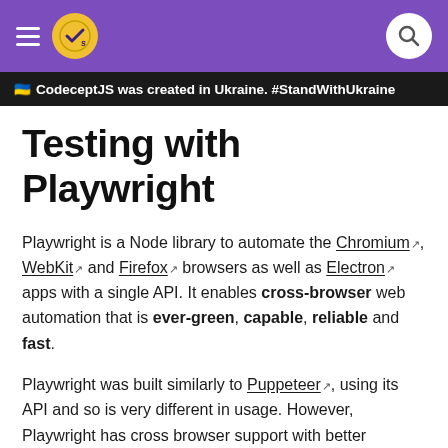CodeceptJS navigation header with logo and search
🇺🇦 CodeceptJS was created in Ukraine. #StandWithUkraine
Testing with Playwright
Playwright is a Node library to automate the Chromium, WebKit and Firefox browsers as well as Electron apps with a single API. It enables cross-browser web automation that is ever-green, capable, reliable and fast.
Playwright was built similarly to Puppeteer, using its API and so is very different in usage. However, Playwright has cross browser support with better